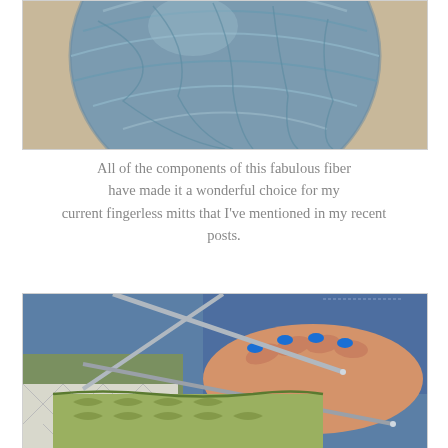[Figure (photo): A ball of blue-gray yarn on a beige/tan background, photographed from above, partially cropped at the top.]
All of the components of this fabulous fiber have made it a wonderful choice for my current fingerless mitts that I've mentioned in my recent posts.
[Figure (photo): A person's hand with bright blue nail polish holding green knitting in progress on metal double-pointed needles, wearing jeans, with a quilted white fabric in the background.]